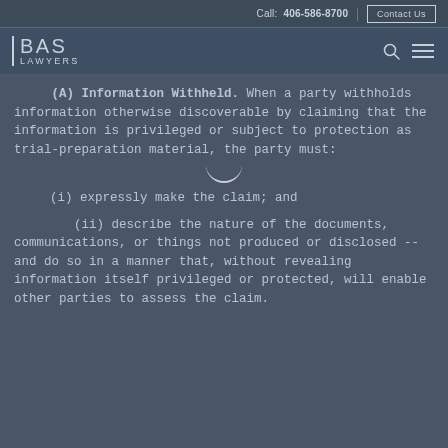Call: 406-586-8700 | Contact Us
[Figure (logo): BAS Lawyers logo with search and menu icons]
(A) Information Withheld. When a party withholds information otherwise discoverable by claiming that the information is privileged or subject to protection as trial-preparation material, the party must:
(i) expressly make the claim; and
(ii) describe the nature of the documents, communications, or things not produced or disclosed -- and do so in a manner that, without revealing information itself privileged or protected, will enable other parties to assess the claim.